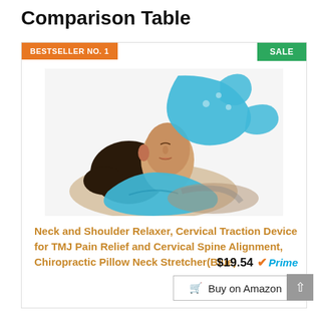Comparison Table
BESTSELLER NO. 1
SALE
[Figure (photo): A woman lying on her back using a blue cervical traction neck and shoulder relaxer device. The device is blue and supports her neck and shoulders.]
Neck and Shoulder Relaxer, Cervical Traction Device for TMJ Pain Relief and Cervical Spine Alignment, Chiropractic Pillow Neck Stretcher(Blue)
$19.54 ✔Prime
Buy on Amazon